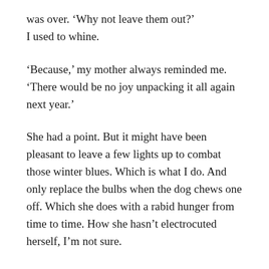was over. ‘Why not leave them out?’ I used to whine.
‘Because,’ my mother always reminded me. ‘There would be no joy unpacking it all again next year.’
She had a point. But it might have been pleasant to leave a few lights up to combat those winter blues. Which is what I do. And only replace the bulbs when the dog chews one off. Which she does with a rabid hunger from time to time. How she hasn’t electrocuted herself, I’m not sure.